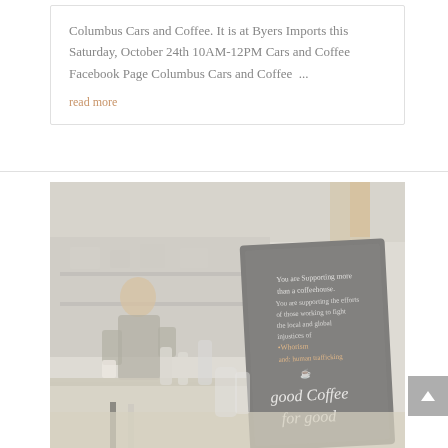Columbus Cars and Coffee. It is at Byers Imports this Saturday, October 24th 10AM-12PM Cars and Coffee Facebook Page Columbus Cars and Coffee ...
read more
[Figure (photo): A coffee shop interior scene with a barista working behind the counter on the left, and a chalkboard sign in the foreground on the right. The chalkboard reads text about supporting more than a coffeehouse, fighting injustices of human trafficking, and 'good Coffee for good'. The image has a light, faded/washed-out aesthetic.]